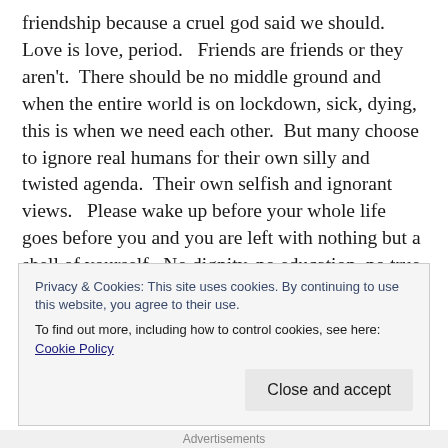friendship because a cruel god said we should.   Love is love, period.   Friends are friends or they aren't.  There should be no middle ground and when the entire world is on lockdown, sick, dying, this is when we need each other.  But many choose to ignore real humans for their own silly and twisted agenda.  Their own selfish and ignorant views.   Please wake up before your whole life goes before you and you are left with nothing but a shell of yourself.  No dignity, no education, no true friends, no family.  Children who will in the end, resent and hate you.   JWfacts.com
That part of my rant over.   I will update this site when
Privacy & Cookies: This site uses cookies. By continuing to use this website, you agree to their use. To find out more, including how to control cookies, see here: Cookie Policy
Close and accept
Advertisements